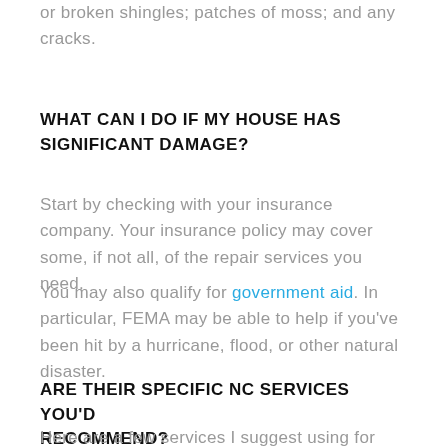or broken shingles; patches of moss; and any cracks.
WHAT CAN I DO IF MY HOUSE HAS SIGNIFICANT DAMAGE?
Start by checking with your insurance company. Your insurance policy may cover some, if not all, of the repair services you need.
You may also qualify for government aid. In particular, FEMA may be able to help if you've been hit by a hurricane, flood, or other natural disaster.
ARE THEIR SPECIFIC NC SERVICES YOU'D RECOMMEND?
Here are a few services I suggest using for your NC home services needs: